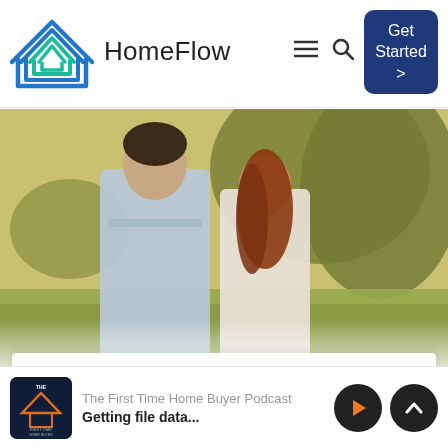[Figure (logo): HomeFlow logo - stylized house outline with blue and teal parallel lines forming a house shape]
HomeFlow
[Figure (screenshot): Navigation icons: hamburger menu and search icon]
[Figure (screenshot): Get Started > button in dark navy blue rounded rectangle]
[Figure (photo): Young couple walking outdoors in a sunny park with trees in background, man in light blue shirt, woman with long red hair in white top]
[Figure (logo): The First Time Home Buyer Podcast album art - dark blue square with house/roof graphic and text]
The First Time Home Buyer Podcast
Getting file data...